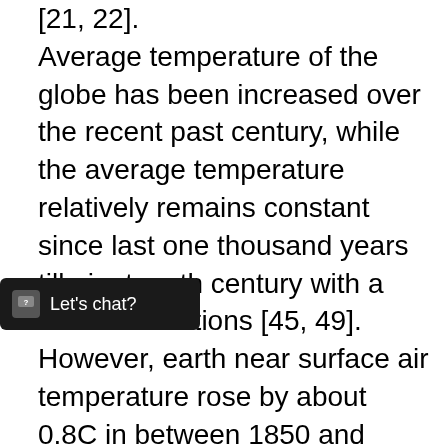[21, 22]. Average temperature of the globe has been increased over the recent past century, while the average temperature relatively remains constant since last one thousand years till nineteenth century with a little bit variations [45, 49]. However, earth near surface air temperature rose by about 0.8C in between 1850 and 2012 [46, 50]. The rate of temperature increase since mid 1970's and the recent past few decades is more than all that of 1850's [50]. The recent past decade is the warmest from all the previous ones. Satellite readings and direct measurements also show increase in [the water vapor] in the lower atmosphere over the past three decades [50]. In contrast, the atmosphere above 15 km elevation (the stratosphere) has cooled over this time [51–53]